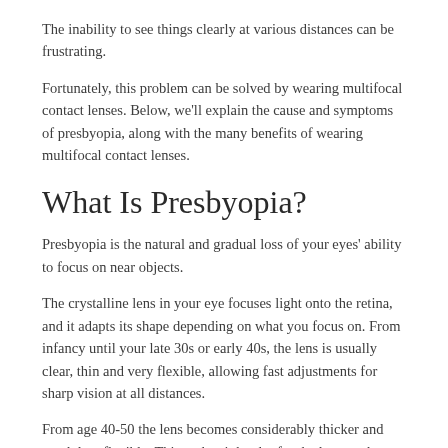The inability to see things clearly at various distances can be frustrating.
Fortunately, this problem can be solved by wearing multifocal contact lenses. Below, we'll explain the cause and symptoms of presbyopia, along with the many benefits of wearing multifocal contact lenses.
What Is Presbyopia?
Presbyopia is the natural and gradual loss of your eyes' ability to focus on near objects.
The crystalline lens in your eye focuses light onto the retina, and it adapts its shape depending on what you focus on. From infancy until your late 30s or early 40s, the lens is usually clear, thin and very flexible, allowing fast adjustments for sharp vision at all distances.
From age 40-50 the lens becomes considerably thicker and much less flexible. This makes it harder for the lens to change shape and to accurately refract light when focusing on near objects.